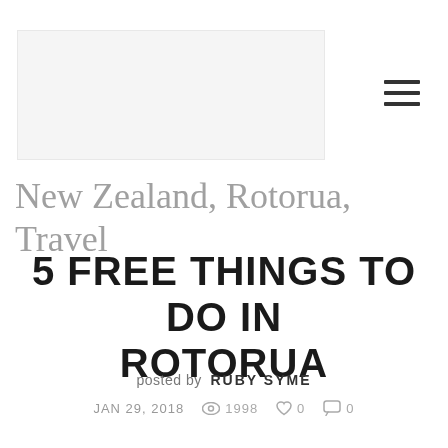[Figure (photo): Placeholder header image, light gray rectangle]
New Zealand, Rotorua, Travel
5 FREE THINGS TO DO IN ROTORUA
posted by RUBY SYME
JAN 29, 2018  1998  0  0